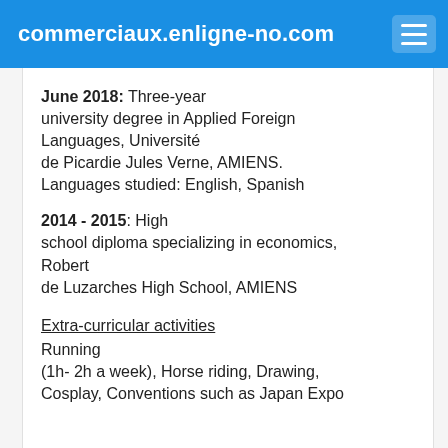commerciaux.enligne-no.com
June 2018: Three-year university degree in Applied Foreign Languages, Université de Picardie Jules Verne, AMIENS. Languages studied: English, Spanish
2014 - 2015: High school diploma specializing in economics, Robert de Luzarches High School, AMIENS
Extra-curricular activities
Running (1h- 2h a week), Horse riding, Drawing, Cosplay, Conventions such as Japan Expo